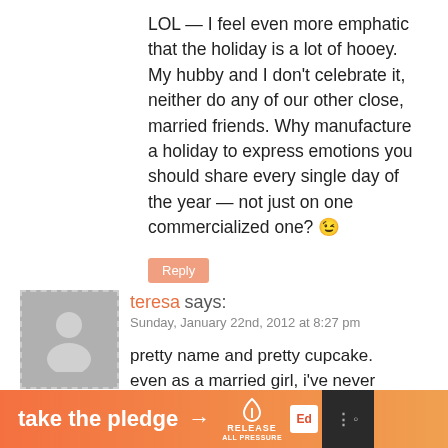LOL — I feel even more emphatic that the holiday is a lot of hooey. My hubby and I don't celebrate it, neither do any of our other close, married friends. Why manufacture a holiday to express emotions you should share every single day of the year — not just on one commercialized one? 😉
Reply
teresa says:
Sunday, January 22nd, 2012 at 8:27 pm
pretty name and pretty cupcake. even as a married girl, i've never been much a fan of v-day. just too much hype for me. not near as good
take the pledge →